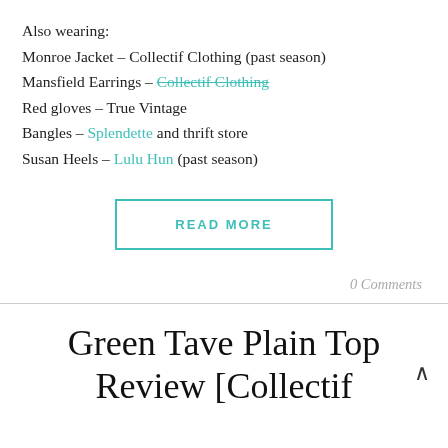Also wearing:
Monroe Jacket – Collectif Clothing (past season)
Mansfield Earrings – Collectif Clothing [strikethrough]
Red gloves – True Vintage
Bangles – Splendette and thrift store
Susan Heels – Lulu Hun (past season)
READ MORE
0 Comments
Green Tave Plain Top Review [Collectif